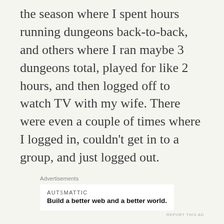the season where I spent hours running dungeons back-to-back, and others where I ran maybe 3 dungeons total, played for like 2 hours, and then logged off to watch TV with my wife. There were even a couple of times where I logged in, couldn't get in to a group, and just logged out.
Advertisements
[Figure (other): Automattic advertisement: 'Build a better web and a better world.']
In a raid environment or a fixed group setting, I wouldn't have that flexibility. Now, you can definitely be a casual raider with a time commitment – and I'd